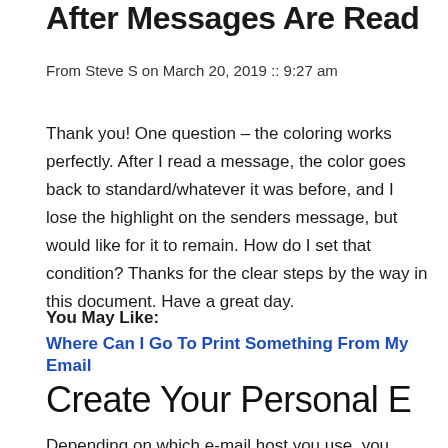After Messages Are Read
From Steve S on March 20, 2019 :: 9:27 am
Thank you! One question – the coloring works perfectly. After I read a message, the color goes back to standard/whatever it was before, and I lose the highlight on the senders message, but would like for it to remain. How do I set that condition? Thanks for the clear steps by the way in this document. Have a great day.
You May Like:
Where Can I Go To Print Something From My Email
Create Your Personal E
Depending on which e-mail host you use, you have the option to customize your inbox, where from email addresses